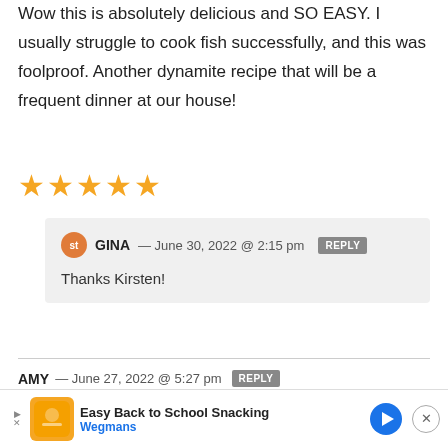Wow this is absolutely delicious and SO EASY. I usually struggle to cook fish successfully, and this was foolproof. Another dynamite recipe that will be a frequent dinner at our house!
[Figure (other): Five gold star rating icons]
GINA — June 30, 2022 @ 2:15 pm REPLY
Thanks Kirsten!
AMY — June 27, 2022 @ 5:27 pm REPLY
We loved this. It was a great way to liven up our salmon rotation... salmon
[Figure (infographic): Advertisement banner: Easy Back to School Snacking - Wegmans]